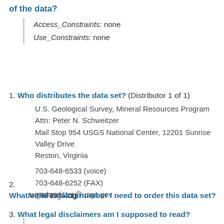of the data?
Access_Constraints: none
Use_Constraints: none
1. Who distributes the data set? (Distributor 1 of 1)
U.S. Geological Survey, Mineral Resources Program
Attn: Peter N. Schweitzer
Mail Stop 954 USGS National Center, 12201 Sunrise Valley Drive
Reston, Virginia

703-648-6533 (voice)
703-648-6252 (FAX)
pschweitzer@usgs.gov
2. What's the catalog number I need to order this data set?
AK_6035j.zip
3. What legal disclaimers am I supposed to read?